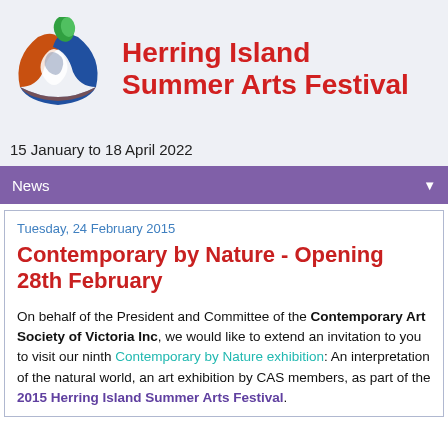[Figure (logo): Herring Island Summer Arts Festival logo — a circular emblem with orange, blue and green shapes forming an abstract figure, next to the festival name in red bold text]
Herring Island Summer Arts Festival
15 January to 18 April 2022
News ▼
Tuesday, 24 February 2015
Contemporary by Nature - Opening 28th February
On behalf of the President and Committee of the Contemporary Art Society of Victoria Inc, we would like to extend an invitation to you to visit our ninth Contemporary by Nature exhibition: An interpretation of the natural world, an art exhibition by CAS members, as part of the 2015 Herring Island Summer Arts Festival.